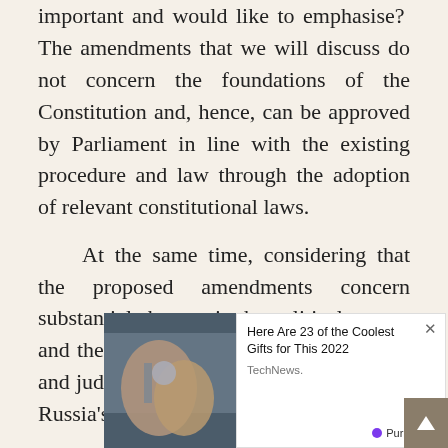important and would like to emphasise? The amendments that we will discuss do not concern the foundations of the Constitution and, hence, can be approved by Parliament in line with the existing procedure and law through the adoption of relevant constitutional laws.

At the same time, considering that the proposed amendments concern substantial changes in the political system and the work of the executive, legislative and judic[iary, it is] nece[ssary to involve] Russ[ia's] pack[age of the proposed
[Figure (photo): Advertisement overlay showing hands with water/rings, with text 'Here Are 23 of the Coolest Gifts for This 2022' from TechNews, with PurpleAds branding]